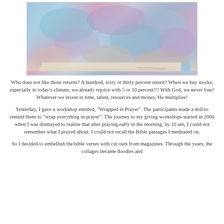[Figure (photo): Photo of colorful painted/decorated journal pages or book with watercolor artwork in blues, pinks, purples and teals, spread open on a dark wooden surface]
Who does not like those returns? A hundred, sixty or thirty percent return? When we buy stocks, especially in today’s climate, we already rejoice with 5 or 10 percent!!! With God, we never lose! Whatever we invest in time, talent, resources and money, He multiplies!
Yesterday, I gave a workshop entitled, “Wrapped in Prayer”. The participants made a doll to remind them to “wrap everything in prayer”. The journey to my giving workshops started in 2006 when I was dismayed to realize that after praying early in the morning, by 10 am, I could not remember what I prayed about. I could not recall the Bible passages I meditated on.
So I decided to embellish the bible verses with cut outs from magazines. Through the years, the collages became doodles and